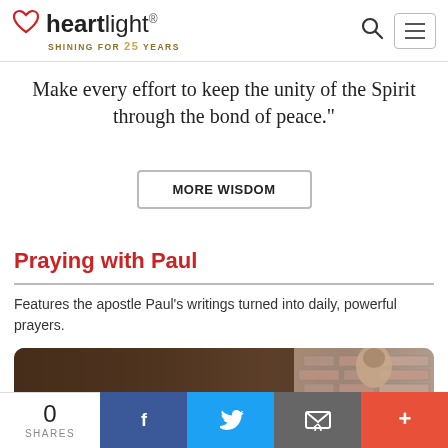heartlight® — SHINING FOR 25 YEARS
Make every effort to keep the unity of the Spirit through the bond of peace."
MORE WISDOM
Praying with Paul
Features the apostle Paul's writings turned into daily, powerful prayers.
[Figure (photo): A man praying with eyes looking upward, against a brick wall background]
0 SHARES | Facebook share | Twitter share | Email share | More